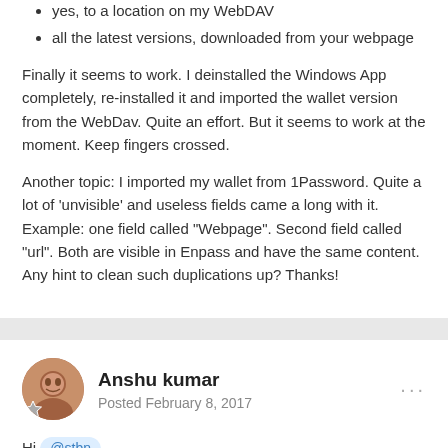yes, to a location on my WebDAV
all the latest versions, downloaded from your webpage
Finally it seems to work. I deinstalled the Windows App completely, re-installed it and imported the wallet version from the WebDav. Quite an effort. But it seems to work at the moment. Keep fingers crossed.
Another topic: I imported my wallet from 1Password. Quite a lot of 'unvisible' and useless fields came a long with it. Example: one field called "Webpage". Second field called "url". Both are visible in Enpass and have the same content. Any hint to clean such duplications up? Thanks!
Anshu kumar
Posted February 8, 2017
Hi @stbn ,
I am glad to know that you have managed to resolve the issue by uninstalling/reinstalling the app and restoring the database from